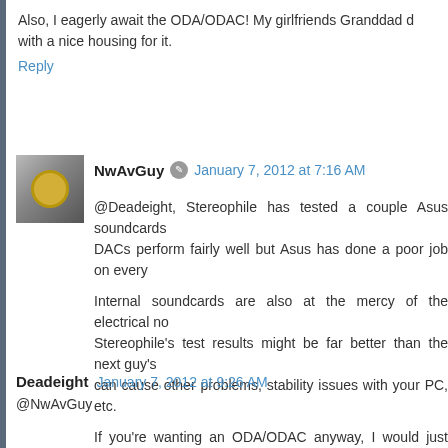Also, I eagerly await the ODA/ODAC! My girlfriends Granddad d... with a nice housing for it.
Reply
NwAvGuy  January 7, 2012 at 7:16 AM
@Deadeight, Stereophile has tested a couple Asus soundcards... DACs perform fairly well but Asus has done a poor job on every...
Internal soundcards are also at the mercy of the electrical no... Stereophile's test results might be far better than the next guy's... can cause other problems, stability issues with your PC, etc.
If you're wanting an ODA/ODAC anyway, I would just wait a... proprietary drivers and won't be at the mercy of the PC it's use... amp will outperform anything I'm aware of from Asus.
Reply
Deadeight  January 7, 2012 at 9:26 AM
@NwAvGuy